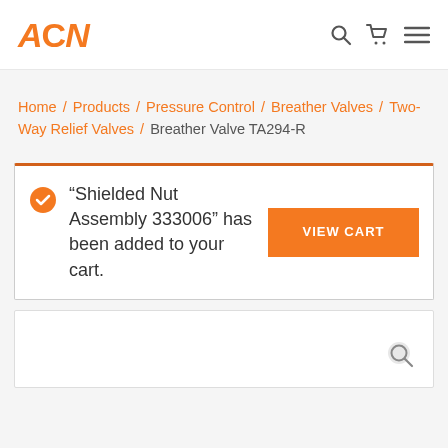ACN [logo] — navigation header with search, cart, and menu icons
Home / Products / Pressure Control / Breather Valves / Two-Way Relief Valves / Breather Valve TA294-R
"Shielded Nut Assembly 333006" has been added to your cart.
[Figure (screenshot): Bottom content area with search icon]